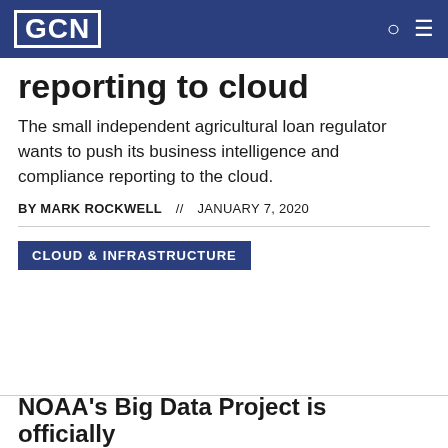GCN
reporting to cloud
The small independent agricultural loan regulator wants to push its business intelligence and compliance reporting to the cloud.
BY MARK ROCKWELL  //  JANUARY 7, 2020
CLOUD & INFRASTRUCTURE
NOAA's Big Data Project is officially